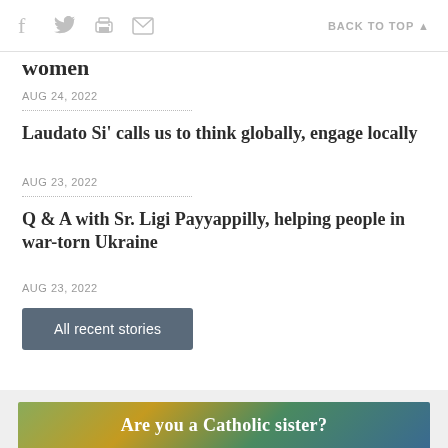f  [twitter]  [print]  [email]   BACK TO TOP ▲
women
AUG 24, 2022
Laudato Si' calls us to think globally, engage locally
AUG 23, 2022
Q & A with Sr. Ligi Payyappilly, helping people in war-torn Ukraine
AUG 23, 2022
All recent stories
[Figure (other): Are you a Catholic sister? advertisement banner]